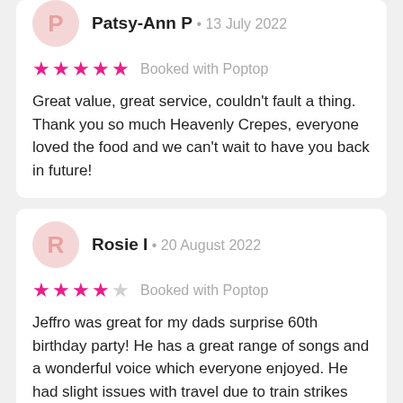Patsy-Ann P · 13 July 2022
★★★★★ Booked with Poptop
Great value, great service, couldn't fault a thing. Thank you so much Heavenly Crepes, everyone loved the food and we can't wait to have you back in future!
Rosie I · 20 August 2022
★★★★☆ Booked with Poptop
Jeffro was great for my dads surprise 60th birthday party! He has a great range of songs and a wonderful voice which everyone enjoyed. He had slight issues with travel due to train strikes but was fl...
Lizzie P · 16 July 2022